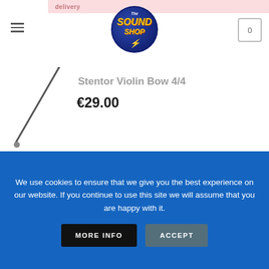The Sound Shop — delivery
[Figure (logo): The Sound Shop circular logo with blue background and yellow text]
Stentor Violin Bow 4/4
€29.00
GOOGLE REVIEWS
Thank you for your service Sound Shop team! I am more than happy, quick shipping, next day
We use cookies to ensure that we give you the best experience on our website. If you continue to use this site we will assume that you are happy with it.